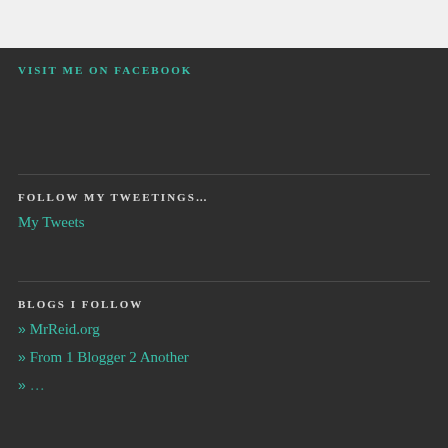VISIT ME ON FACEBOOK
FOLLOW MY TWEETINGS…
My Tweets
BLOGS I FOLLOW
» MrReid.org
» From 1 Blogger 2 Another
»  ...